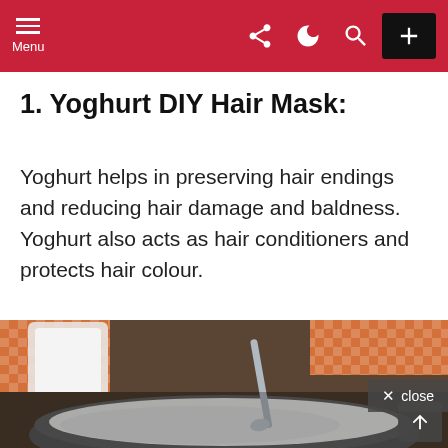Menu (navigation bar with share, dark mode, search, and + icons)
1. Yoghurt DIY Hair Mask:
Yoghurt helps in preserving hair endings and reducing hair damage and baldness. Yoghurt also acts as hair conditioners and protects hair colour.
[Figure (photo): Photo of a bowl of yoghurt with a spoon, and a glass/container of milk or yoghurt in the background, with an orange checkered cloth. A semi-transparent dark overlay covers the bottom portion with a close button.]